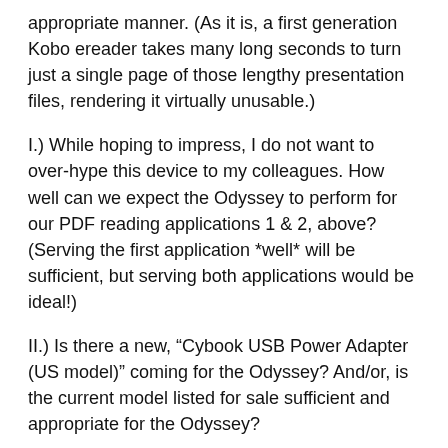appropriate manner. (As it is, a first generation Kobo ereader takes many long seconds to turn just a single page of those lengthy presentation files, rendering it virtually unusable.)
I.) While hoping to impress, I do not want to over-hype this device to my colleagues. How well can we expect the Odyssey to perform for our PDF reading applications 1 & 2, above? (Serving the first application *well* will be sufficient, but serving both applications would be ideal!)
II.) Is there a new, “Cybook USB Power Adapter (US model)” coming for the Odyssey? And/or, is the current model listed for sale sufficient and appropriate for the Odyssey?
III.) We are in the U.S., and Odyssey pre-ordering does not appear present within the USA area of your